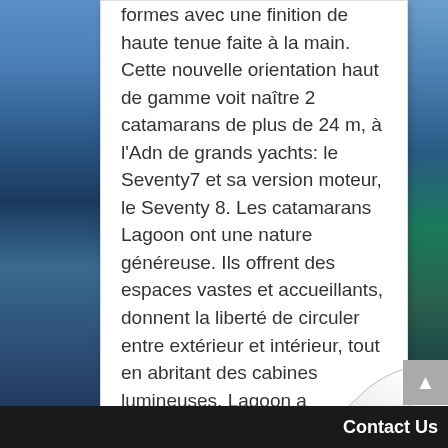formes avec une finition de haute tenue faite à la main. Cette nouvelle orientation haut de gamme voit naître 2 catamarans de plus de 24 m, à l'Adn de grands yachts: le Seventy7 et sa version moteur, le Seventy 8. Les catamarans Lagoon ont une nature généreuse. Ils offrent des espaces vastes et accueillants, donnent la liberté de circuler entre extérieur et intérieur, tout en abritant des cabines lumineuses. Lagoon a également répondu à des demandes originales comme la construction des trimarans du film Waterworld. Lagoon est partenaire de rallye de lArc, rallye transatlantique organisé par le World Cruising Club rassemble monocoques et catamarans pour une traversée de l'Atlantique, de Palma de Canarias jusqu'à Rodney Bay à Sainte Lucie. C'est le plus grand évènement de ce type au monde.
Contact Us